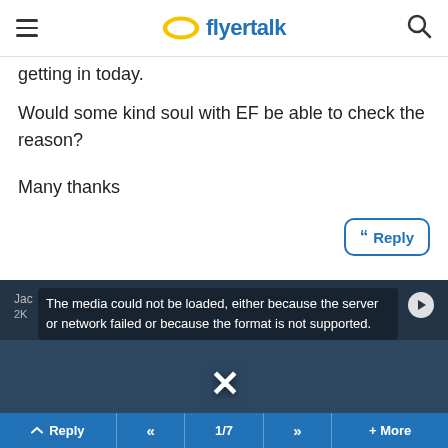flyertalk
getting in today.
Would some kind soul with EF be able to check the reason?
Many thanks
[Figure (screenshot): Media player area with error message: 'The media could not be loaded, either because the server or network failed or because the format is not supported.' Background shows a football player. An X mark is displayed in the center.]
Reply  <<  1/7  >>  + More